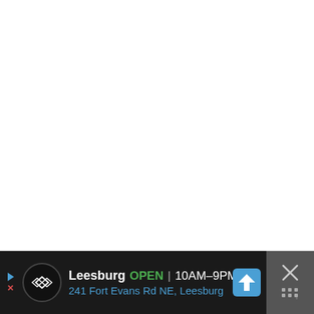[Figure (other): White blank map area taking up the upper portion of the screen]
Leesburg  OPEN | 10AM–9PM  241 Fort Evans Rd NE, Leesburg